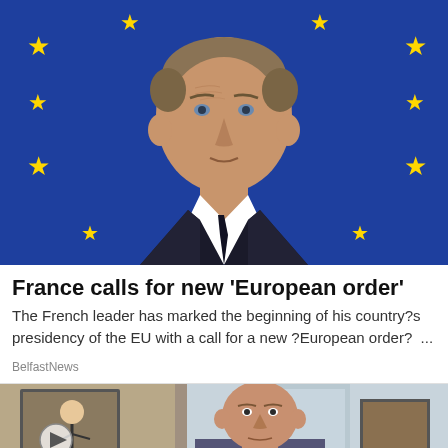[Figure (photo): Emmanuel Macron standing in front of a European Union flag with yellow stars on blue background, looking upward]
France calls for new 'European order'
The French leader has marked the beginning of his country?s presidency of the EU with a call for a new ?European order? ...
BelfastNews
[Figure (photo): A bald man visible in what appears to be a home or office setting, with a cartoon/illustration on the left side of the frame. A circular play button icon is visible.]